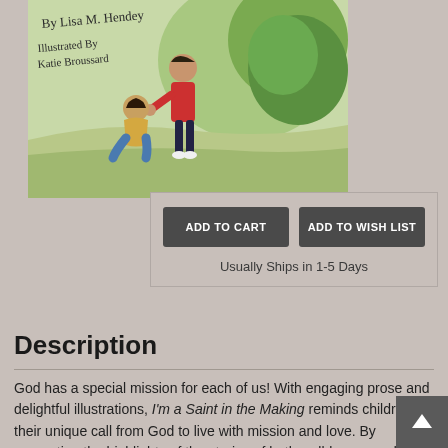[Figure (illustration): Book cover illustration showing a boy in a red jacket helping another child who is sitting on the ground, set against a green outdoor background. Text reads 'By Lisa M. Hendey, Illustrated By Katie Broussard']
ADD TO CART
ADD TO WISH LIST
Usually Ships in 1-5 Days
Description
God has a special mission for each of us! With engaging prose and delightful illustrations, I'm a Saint in the Making reminds children of their unique call from God to live with mission and love. By recounting the highlights of the stories of both well-known and newer saints (including John Paul II, Mary MacKillop, Augustus Tolton, Teresa of Calcutta, Juan Diego and Chiara Badano) in relatable lessons, the book helps readers learn